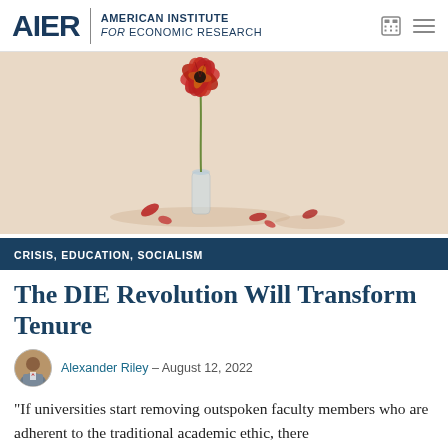AIER | AMERICAN INSTITUTE for ECONOMIC RESEARCH
[Figure (photo): A wilting red flower in a small glass vase on a beige/cream surface, with fallen petals scattered around it]
CRISIS, EDUCATION, SOCIALISM
The DIE Revolution Will Transform Tenure
Alexander Riley – August 12, 2022
“If universities start removing outspoken faculty members who are adherent to the traditional academic ethic, there